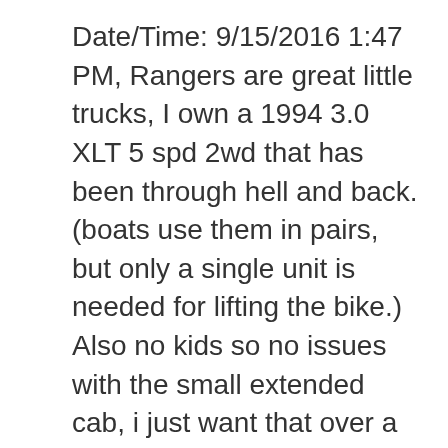Date/Time: 9/15/2016 1:47 PM, Rangers are great little trucks, I own a 1994 3.0 XLT 5 spd 2wd that has been through hell and back. (boats use them in pairs, but only a single unit is needed for lifting the bike.) Also no kids so no issues with the small extended cab, i just want that over a single cab to have some more room to throw stuff in. Die Community für alle FORD Ranger Fahrer und diejenigen die es werden wollen! I have an 03 2wd with 160,000 miles and it does just fine! It's my daily driver and has 160,000 miles. There small. 'Buckle up,' ex-DHS chief warns after Capitol attack, Pro trainer banned for giving horse a racist name, Pro-Trump rocker who went to D.C. rally dropped by